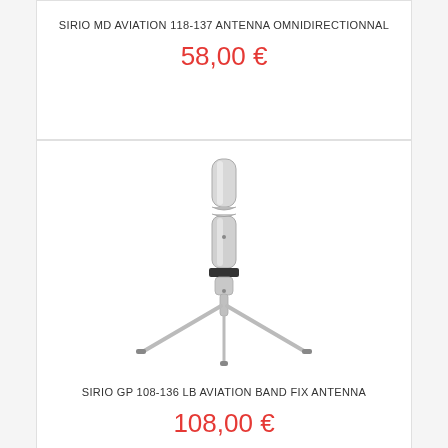SIRIO MD AVIATION 118-137 ANTENNA OMNIDIRECTIONNAL
58,00 €
[Figure (illustration): Product illustration of SIRIO GP 108-136 LB Aviation Band Fix Antenna — a vertical antenna with two sections joined by a connector, mounted on a tripod base with three legs spread out.]
SIRIO GP 108-136 LB AVIATION BAND FIX ANTENNA
108,00 €